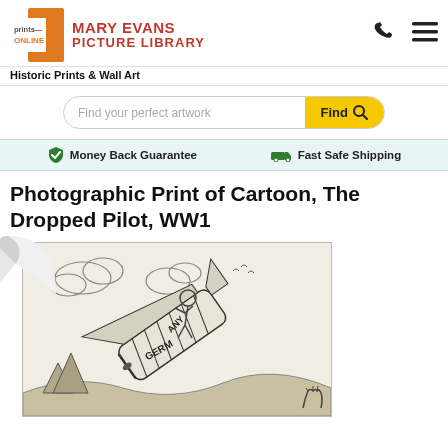[Figure (logo): Prints Online logo with orange square and 'prints ONLINE' text, followed by Mary Evans Picture Library text in red]
Historic Prints & Wall Art
[Figure (other): Search bar with text 'Find your perfect artwork' and yellow Find button with magnifying glass icon]
Money Back Guarantee   Fast Safe Shipping
Photographic Print of Cartoon, The Dropped Pilot, WW1
[Figure (illustration): WW1 cartoon illustration showing an airplane labeled GERMANY crashing or diving, with a figure being ejected, clouds in background, black and white sketch style. Displayed as a print with curled top-left corner.]